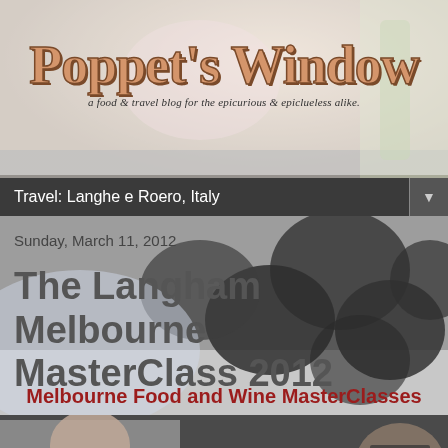[Figure (photo): Background photo of truffles and food/drink items with blurred bokeh effect]
Poppet's Window
a food & travel blog for the epicurious & epiclueless alike.
Travel: Langhe e Roero, Italy
Sunday, March 11, 2012
The Langham Melbourne MasterClass 2012
Melbourne Food and Wine MasterClasses
[Figure (photo): Photo of chefs/people working at a cooking event, with 'withstyle' text visible]